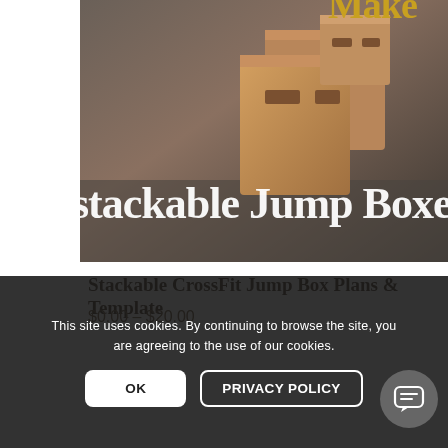[Figure (photo): Product image showing cardboard stackable jump boxes with 'Stackable Jump Boxes' text overlaid, and 'Make' text in gold at top right]
Stackable CrossFit Jump Box Plans & Template
$0.00 – $20.00
[Figure (screenshot): Chat popup with cookie emoji logo showing message: Have any questions? I'm happy to help. Also, feel free to email me info@cravecraftonline.com. With an X close button.]
This site uses cookies. By continuing to browse the site, you are agreeing to the use of our cookies.
OK
PRIVACY POLICY